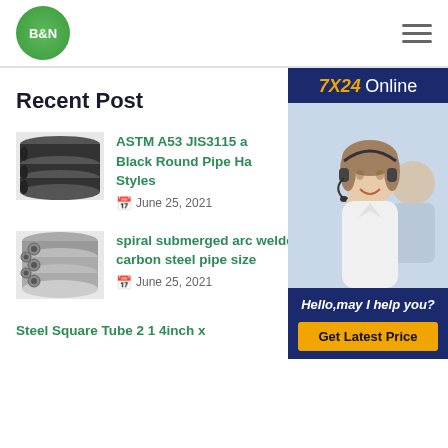[Figure (logo): B&N green circular logo]
Recent Post
[Figure (photo): Stack of black round steel pipes]
ASTM A53 JIS3115 a Black Round Pipe Ha Styles
June 25, 2021
[Figure (photo): Bundle of spiral welded steel pipes]
spiral submerged arc welded carbon steel pipe size
June 25, 2021
Steel Square Tube 2 1 4inch x
[Figure (photo): Customer service representative with headset - 7X24 Online widget]
Hello,may I help you?
Get Latest Price